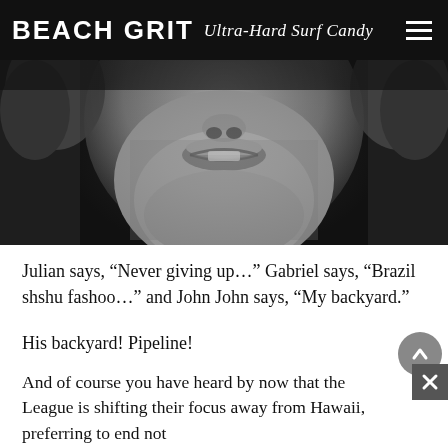BEACH GRIT Ultra-Hard Surf Candy
[Figure (photo): Close-up black and white photo of a man's face, cropped to show the lower half including mouth and chin with stubble]
Julian says, “Never giving up…” Gabriel says, “Brazil shshu fashoo…” and John John says, “My backyard.”
His backyard! Pipeline!
And of course you have heard by now that the League is shifting their focus away from Hawaii, preferring to end not next year’s tour but the following year’s in Indonesia instead. This, to me, is the worst idea ever. Hawaii is the grandest